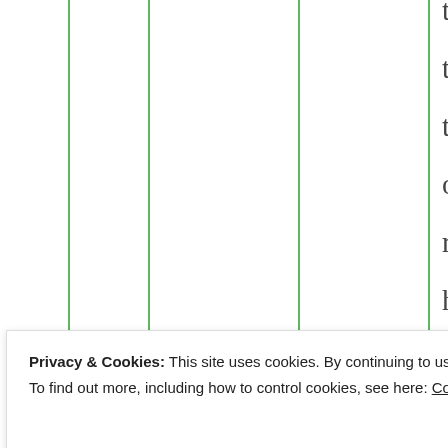tough! But this is for the benefit of TES, right? And he doesn't need me to tell him how tough you are. I am trying to
Privacy & Cookies: This site uses cookies. By continuing to use this website, you agree to their use.
To find out more, including how to control cookies, see here: Cookie Policy
Close and accept